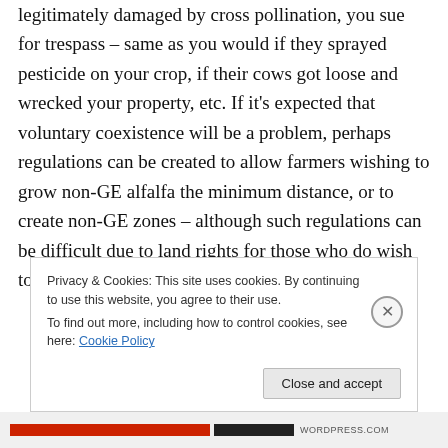legitimately damaged by cross pollination, you sue for trespass – same as you would if they sprayed pesticide on your crop, if their cows got loose and wrecked your property, etc. If it's expected that voluntary coexistence will be a problem, perhaps regulations can be created to allow farmers wishing to grow non-GE alfalfa the minimum distance, or to create non-GE zones – although such regulations can be difficult due to land rights for those who do wish to grow GE.
Privacy & Cookies: This site uses cookies. By continuing to use this website, you agree to their use.
To find out more, including how to control cookies, see here: Cookie Policy
Close and accept